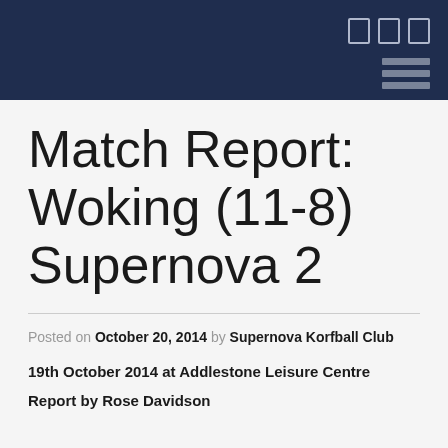Match Report: Woking (11-8) Supernova 2
Posted on October 20, 2014 by Supernova Korfball Club
19th October 2014 at Addlestone Leisure Centre
Report by Rose Davidson